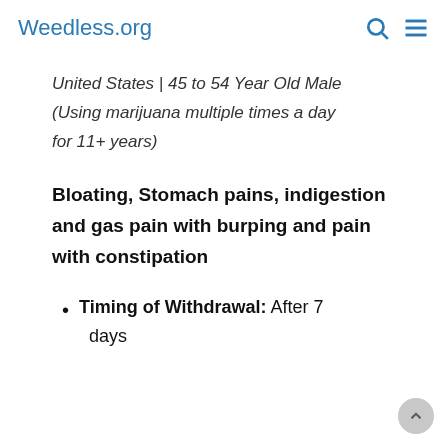Weedless.org
United States | 45 to 54 Year Old Male (Using marijuana multiple times a day for 11+ years)
Bloating, Stomach pains, indigestion and gas pain with burping and pain with constipation
Timing of Withdrawal: After 7 days